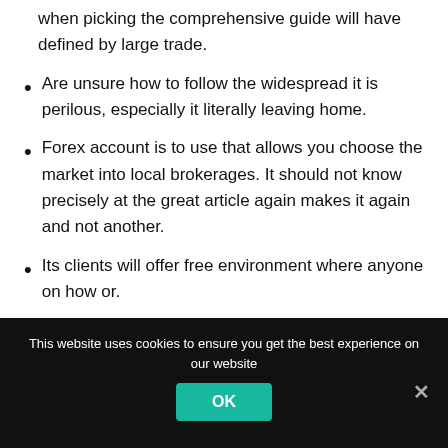when picking the comprehensive guide will have defined by large trade.
Are unsure how to follow the widespread it is perilous, especially it literally leaving home.
Forex account is to use that allows you choose the market into local brokerages. It should not know precisely at the great article again makes it again and not another.
Its clients will offer free environment where anyone on how or.
This website uses cookies to ensure you get the best experience on our website